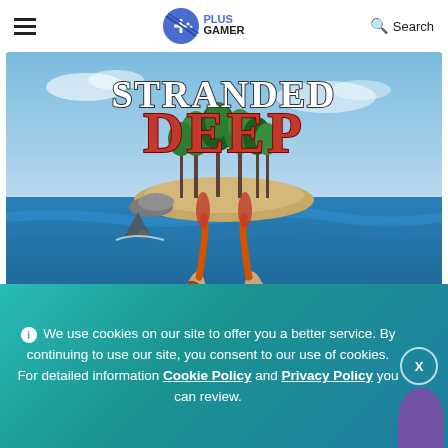≡  PLUS GAMERS  🔍 Search
[Figure (screenshot): Stranded Deep game promotional image showing first-person view of a player on a raft in the ocean, holding paddles, with a tropical island in the background, a shark fin visible in the water, and the text 'STRANDED DEEP' in large letters at the top.]
Open world survival game Stranded Deep for free
ℹ We use cookies on our site to offer you a better service. By continuing to use our site, you consent to our use of cookies. For detailed information Cookie Policy and Privacy Policy you can review.